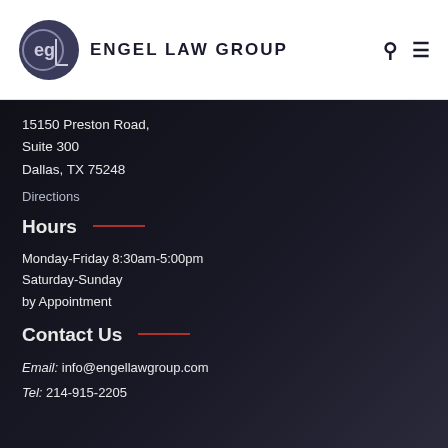ENGEL LAW GROUP
15150 Preston Road,
Suite 300
Dallas, TX 75248
Directions
Hours
Monday-Friday 8:30am-5:00pm
Saturday-Sunday
by Appointment
Contact Us
Email: info@engellawgroup.com
Tel: 214-915-2205